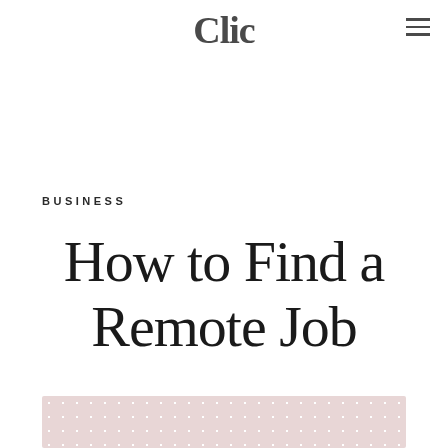Clic
BUSINESS
How to Find a Remote Job
[Figure (photo): Partial view of a pink/blush background with white polka dot pattern, appears to be a decorative image at the bottom of the page]